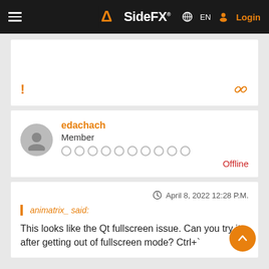SideFX — EN Login
! (exclamation icon) and link icon
edachach
Member
Offline
April 8, 2022 12:28 P.M.
animatrix_ said:
This looks like the Qt fullscreen issue. Can you try it after getting out of fullscreen mode? Ctrl+`